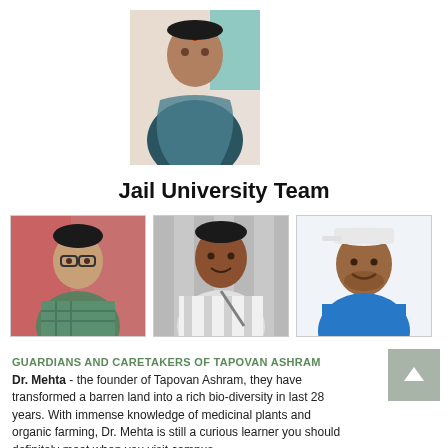[Figure (photo): Photo of a woman (Dr. Mehta), upper-left area, wearing a dark patterned outfit]
Jail University Team
[Figure (photo): Three team member photos side by side: young man with glasses in checkered shirt, man smiling in striped shirt, man in blue t-shirt with cap]
GUARDIANS AND CARETAKERS OF TAPOVAN ASHRAM
Dr. Mehta - the founder of Tapovan Ashram, they have transformed a barren land into a rich bio-diversity in last 28 years. With immense knowledge of medicinal plants and organic farming, Dr. Mehta is still a curious learner you should definitely meet when you visit campus.